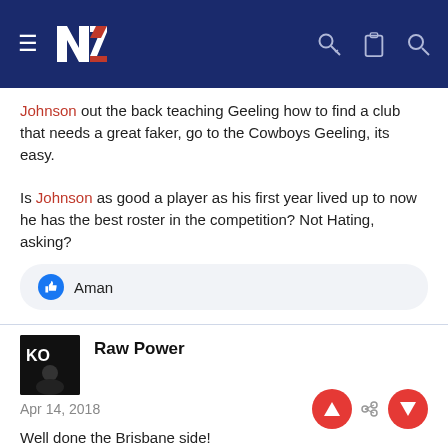NZ Warriors forum header with logo, hamburger menu, key, clipboard, and search icons
Johnson out the back teaching Geeling how to find a club that needs a great faker, go to the Cowboys Geeling, its easy.

Is Johnson as good a player as his first year lived up to now he has the best roster in the competition? Not Hating, asking?
Aman
Raw Power
Apr 14, 2018
Well done the Brisbane side!

A Very Flat Warriors side... Broncs had the energy and the WANT.
We had missed tackles + dropped ball + missed chances = First